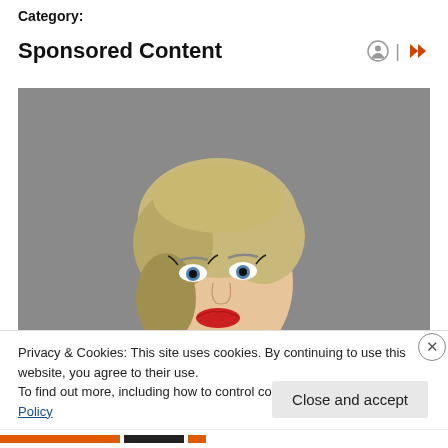Category:
Sponsored Content
[Figure (photo): Portrait of a young blonde woman with red lipstick and styled hair, looking upward against a grey concrete background.]
Privacy & Cookies: This site uses cookies. By continuing to use this website, you agree to their use.
To find out more, including how to control cookies, see here: Cookie Policy
Close and accept